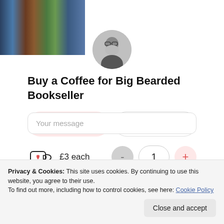[Figure (photo): Bookshelf banner with circular profile photo of a bearded man with glasses in black and white]
Buy a Coffee for Big Bearded Bookseller
One time | Monthly (toggle buttons)
£3 each — quantity selector showing 1
£3 (amount input, partially visible)
Your message (placeholder text, partially visible)
Privacy & Cookies: This site uses cookies. By continuing to use this website, you agree to their use.
To find out more, including how to control cookies, see here: Cookie Policy
Close and accept